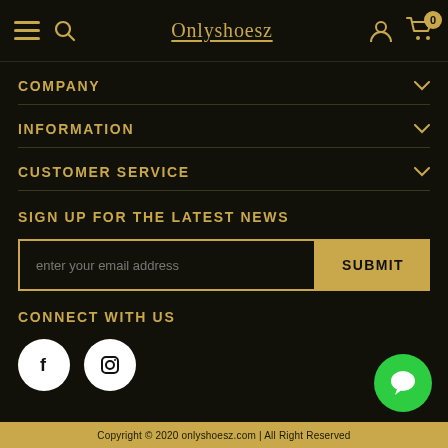Onlyshoesz — navigation bar with hamburger, search, logo, user, cart (0)
COMPANY
INFORMATION
CUSTOMER SERVICE
SIGN UP FOR THE LATEST NEWS
enter your email address
SUBMIT
CONNECT WITH US
Copyright © 2020 onlyshoesz.com | All Right Reserved